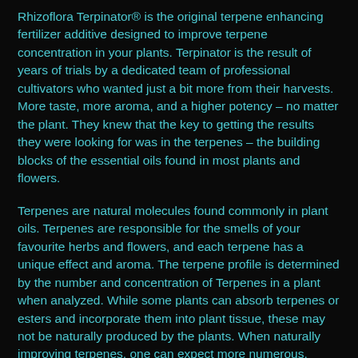Rhizoflora Terpinator® is the original terpene enhancing fertilizer additive designed to improve terpene concentration in your plants. Terpinator is the result of years of trials by a dedicated team of professional cultivators who wanted just a bit more from their harvests. More taste, more aroma, and a higher potency – no matter the plant. They knew that the key to getting the results they were looking for was in the terpenes – the building blocks of the essential oils found in most plants and flowers.
Terpenes are natural molecules found commonly in plant oils. Terpenes are responsible for the smells of your favourite herbs and flowers, and each terpene has a unique effect and aroma. The terpene profile is determined by the number and concentration of Terpenes in a plant when analyzed. While some plants can absorb terpenes or esters and incorporate them into plant tissue, these may not be naturally produced by the plants. When naturally improving terpenes, one can expect more numerous, larger glandular